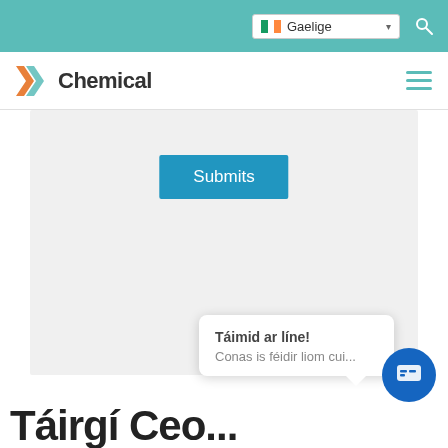Gaelige
[Figure (logo): XX Chemical logo with teal/orange X symbol and text 'Chemical']
[Figure (screenshot): Grey content area with a blue 'Submits' button centered near the top]
Táimid ar líne!
Conas is féidir liom cui...
Táirgí Ceo...